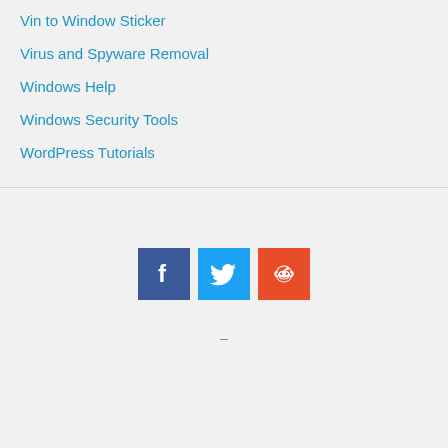Vin to Window Sticker
Virus and Spyware Removal
Windows Help
Windows Security Tools
WordPress Tutorials
[Figure (other): Social media share buttons: Facebook (blue), Twitter (light blue), Reddit (orange-red)]